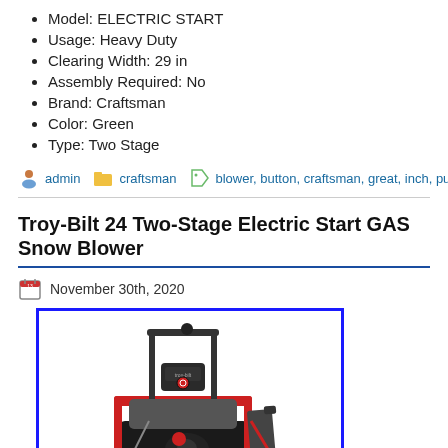Model: ELECTRIC START
Usage: Heavy Duty
Clearing Width: 29 in
Assembly Required: No
Brand: Craftsman
Color: Green
Type: Two Stage
admin   craftsman   blower, button, craftsman, great, inch, push, runs, sn
Troy-Bilt 24 Two-Stage Electric Start GAS Snow Blower
November 30th, 2020
[Figure (photo): Troy-Bilt two-stage electric start gas snow blower, shown from the front/side angle. Machine has a red frame, grey engine housing, black handlebar grips, and a chute deflector on the right side.]